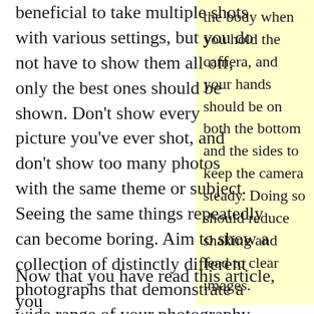beneficial to take multiple shots with various settings, but you do not have to show them all off, only the best ones should be shown. Don't show every picture you've ever shot, and don't show too many photos with the same theme or subject. Seeing the same things repeatedly can become boring. Aim to show a collection of distinctly different photographs that demonstrate a wide range of your photography skills.
the body when you hold the camera, and your hands should be on both the bottom and the sides to keep the camera steady. Doing so should reduce shaking and lead to clear images.
Now that you have read this article, you